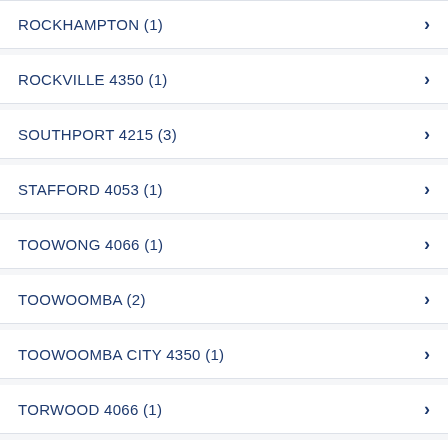ROCKHAMPTON  (1)
ROCKVILLE  4350 (1)
SOUTHPORT  4215 (3)
STAFFORD  4053 (1)
TOOWONG  4066 (1)
TOOWOOMBA  (2)
TOOWOOMBA CITY  4350 (1)
TORWOOD  4066 (1)
URRAWEEN  4655 (2)